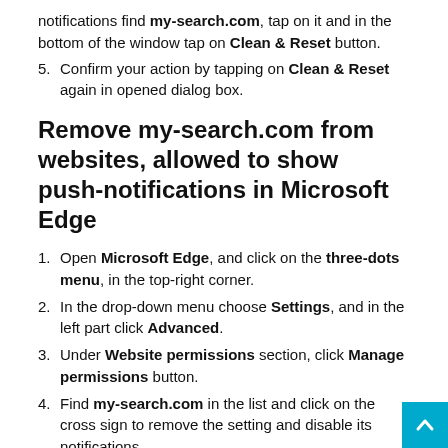notifications find my-search.com, tap on it and in the bottom of the window tap on Clean & Reset button.
5. Confirm your action by tapping on Clean & Reset again in opened dialog box.
Remove my-search.com from websites, allowed to show push-notifications in Microsoft Edge
1. Open Microsoft Edge, and click on the three-dots menu, in the top-right corner.
2. In the drop-down menu choose Settings, and in the left part click Advanced.
3. Under Website permissions section, click Manage permissions button.
4. Find my-search.com in the list and click on the cross sign to remove the setting and disable its notifications.